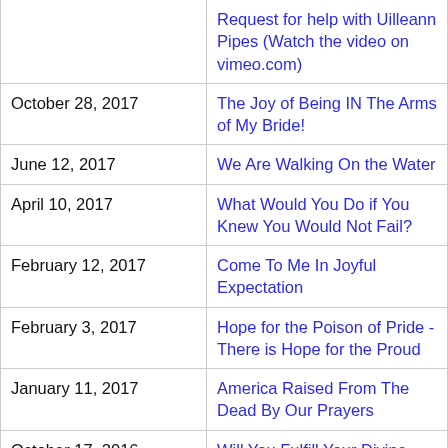| Date | Title |
| --- | --- |
|  | Request for help with Uilleann Pipes (Watch the video on vimeo.com) |
| October 28, 2017 | The Joy of Being IN The Arms of My Bride! |
| June 12, 2017 | We Are Walking On the Water |
| April 10, 2017 | What Would You Do if You Knew You Would Not Fail? |
| February 12, 2017 | Come To Me In Joyful Expectation |
| February 3, 2017 | Hope for the Poison of Pride - There is Hope for the Proud |
| January 11, 2017 | America Raised From The Dead By Our Prayers |
| October 17, 2016 | Will You Fulfill Your Divine Destiny? |
| October 6, 2016 | Come to Me Ready to Dance & New Age Music is a Genre of Music |